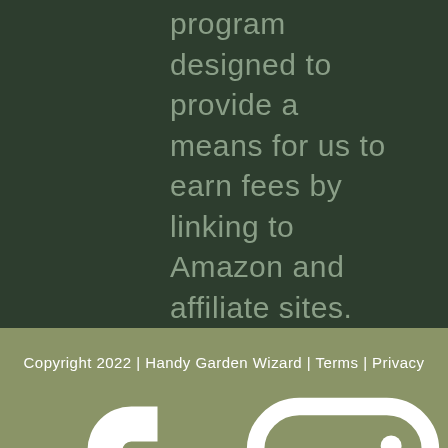program designed to provide a means for us to earn fees by linking to Amazon and affiliate sites.
Copyright 2022 | Handy Garden Wizard | Terms | Privacy